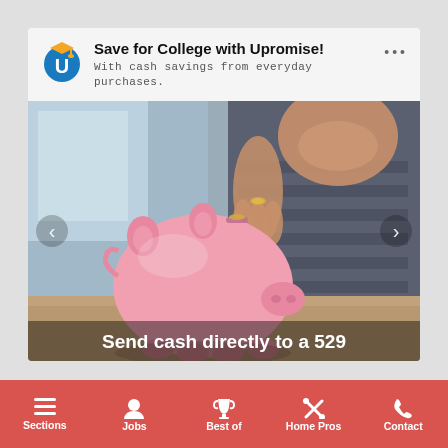[Figure (screenshot): Mobile advertisement for Upromise college savings service. Shows the Upromise logo (blue U with graduation cap), headline 'Save for College with Upromise!', subtext 'With cash savings from everyday purchases.' Below is a photo of a child putting a coin into a pink piggy bank. Overlay text reads 'Send cash directly to a 529'. Navigation arrows on left and right of photo. Bottom navigation bar with red background showing icons: Sections, Jobs, Best of, Home Pros, Contact.]